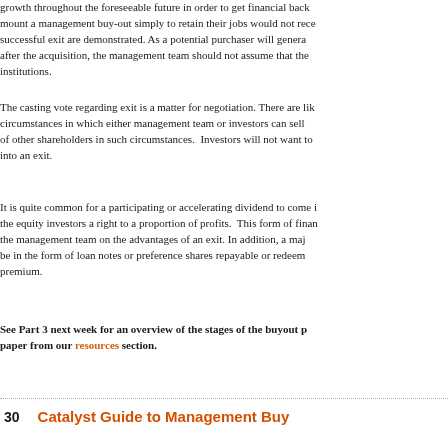growth throughout the foreseeable future in order to get financial back mount a management buy-out simply to retain their jobs would not rece successful exit are demonstrated. As a potential purchaser will genera after the acquisition, the management team should not assume that the institutions.
The casting vote regarding exit is a matter for negotiation. There are lik circumstances in which either management team or investors can sell of other shareholders in such circumstances. Investors will not want to into an exit.
It is quite common for a participating or accelerating dividend to come i the equity investors a right to a proportion of profits. This form of finan the management team on the advantages of an exit. In addition, a maj be in the form of loan notes or preference shares repayable or redeem premium.
See Part 3 next week for an overview of the stages of the buyout p paper from our resources section.
30   Catalyst Guide to Management Buy